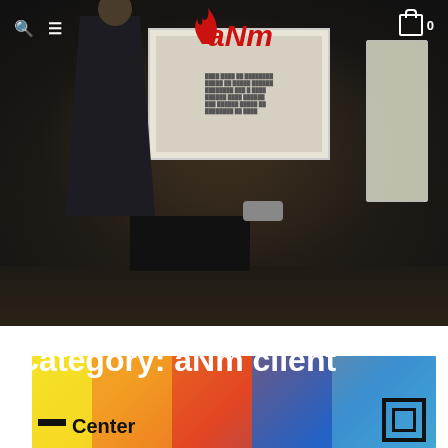aNm — navigation bar with search, menu, logo, and cart
[Figure (photo): Dark conference room photo with a presenter standing at a projector screen showing a presentation slide, a whiteboard easel to the right, and a table with equipment in the foreground.]
Category: aNm client
[Figure (photo): Close-up blurred photo of colorful brochures or marketing materials with the text 'Center' visible in bold black, and a black square logo icon on the right.]